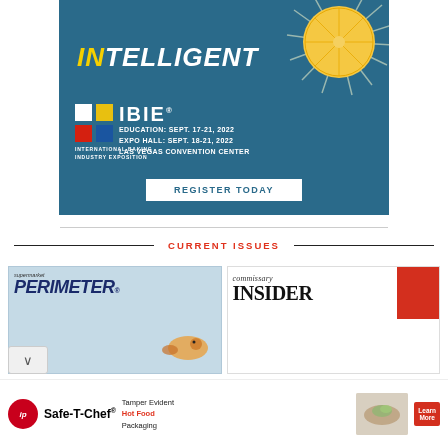[Figure (illustration): IBIE (International Baking Industry Exposition) advertisement banner with teal/blue background, lemon sun graphic, 'INTELLIGENT' text, IBIE logo with event dates EDUCATION: SEPT. 17-21, 2022 / EXPO HALL: SEPT. 18-21, 2022 / LAS VEGAS CONVENTION CENTER, and REGISTER TODAY button]
CURRENT ISSUES
[Figure (illustration): Cover of 'supermarket PERIMETER' magazine with light blue background and fish/seafood imagery]
[Figure (illustration): Cover of 'commissary INSIDER' magazine with white background and red corner accent]
[Figure (illustration): Advertisement banner for ip Safe-T-Chef Tamper Evident Hot Food Packaging with red circular ip logo, product image, and Learn More button]